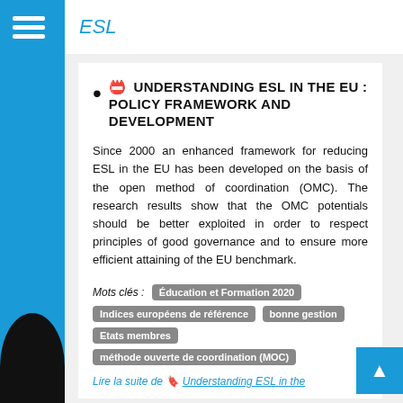ESL
🎓 UNDERSTANDING ESL IN THE EU : POLICY FRAMEWORK AND DEVELOPMENT
Since 2000 an enhanced framework for reducing ESL in the EU has been developed on the basis of the open method of coordination (OMC). The research results show that the OMC potentials should be better exploited in order to respect principles of good governance and to ensure more efficient attaining of the EU benchmark.
Mots clés : Education et Formation 2020  Indices européens de référence  bonne gestion  Etats membres  méthode ouverte de coordination (MOC)
Lire la suite de 🔖 Understanding ESL in the